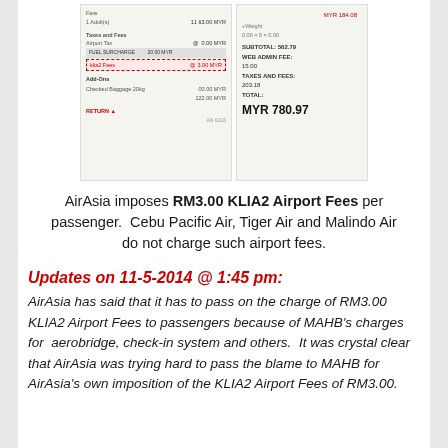[Figure (screenshot): Two side-by-side screenshots of an AirAsia booking receipt showing fees including KLIA2 Airport Fees of RM3.00 highlighted with a red dashed box, and a total of MYR 780.97]
AirAsia imposes RM3.00 KLIA2 Airport Fees per passenger.  Cebu Pacific Air, Tiger Air and Malindo Air do not charge such airport fees.
Updates on 11-5-2014 @ 1:45 pm:
AirAsia has said that it has to pass on the charge of RM3.00 KLIA2 Airport Fees to passengers because of MAHB's charges for  aerobridge, check-in system and others.  It was crystal clear that AirAsia was trying hard to pass the blame to MAHB for AirAsia's own imposition of the KLIA2 Airport Fees of RM3.00.